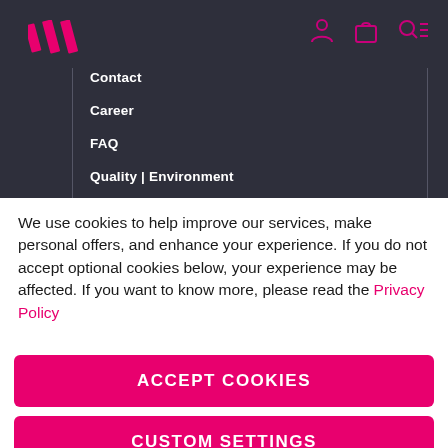[Figure (logo): Three diagonal pink stripes logo mark]
[Figure (illustration): Navigation icons: person/account, bag/cart, search/profile menu]
Contact
Career
FAQ
Quality | Environment
We use cookies to help improve our services, make personal offers, and enhance your experience. If you do not accept optional cookies below, your experience may be affected. If you want to know more, please read the Privacy Policy
ACCEPT COOKIES
CUSTOM SETTINGS